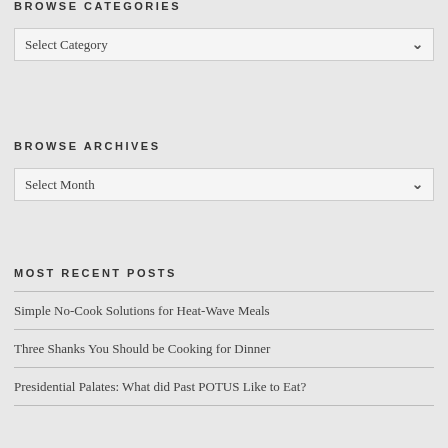BROWSE CATEGORIES
Select Category
BROWSE ARCHIVES
Select Month
MOST RECENT POSTS
Simple No-Cook Solutions for Heat-Wave Meals
Three Shanks You Should be Cooking for Dinner
Presidential Palates: What did Past POTUS Like to Eat?